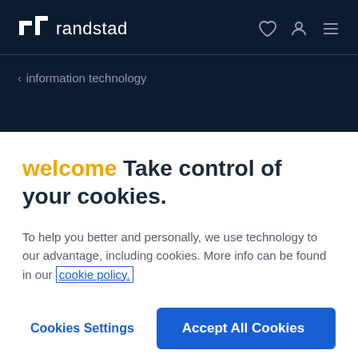randstad
‹ information technology
welcome Take control of your cookies.
To help you better and personally, we use technology to our advantage, including cookies. More info can be found in our cookie policy.
Cookies Settings | Accept All Cookies